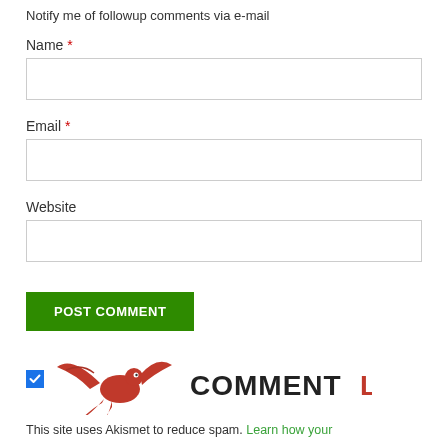Notify me of followup comments via e-mail
Name *
Email *
Website
POST COMMENT
[Figure (logo): CommentLuv logo with red phoenix bird and text COMMENTLUV in dark and red colors, with a checked checkbox to the left]
This site uses Akismet to reduce spam. Learn how your